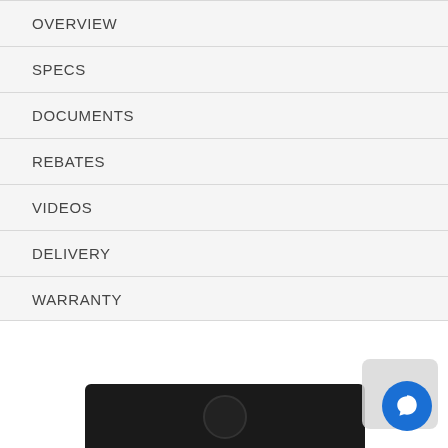OVERVIEW
SPECS
DOCUMENTS
REBATES
VIDEOS
DELIVERY
WARRANTY
REVIEWS (37)
[Figure (photo): Bottom portion of a product page showing a dark-colored electronic device (appears to be a cooktop or appliance) with a circular element, partially visible at the bottom of the page. A blue circular chat button with a chat bubble icon is overlaid in the lower-right corner.]